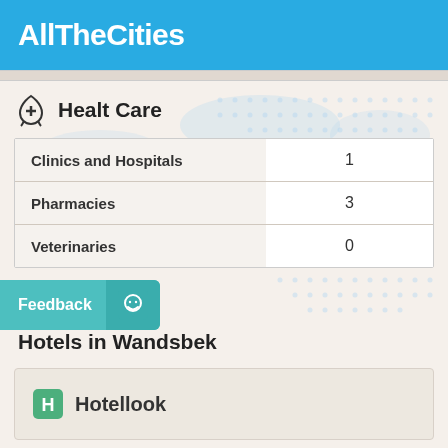AllTheCities
[Figure (map): Light blue dot-pattern world map background watermark]
Health Care
|  |  |
| --- | --- |
| Clinics and Hospitals | 1 |
| Pharmacies | 3 |
| Veterinaries | 0 |
Feedback
Hotels in Wandsbek
[Figure (logo): Hotellook logo with green icon]